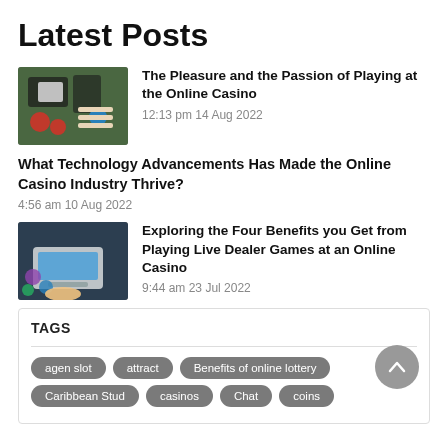Latest Posts
[Figure (photo): Casino cards and chips on green table]
The Pleasure and the Passion of Playing at the Online Casino
12:13 pm 14 Aug 2022
What Technology Advancements Has Made the Online Casino Industry Thrive?
4:56 am 10 Aug 2022
[Figure (photo): Person typing on laptop with casino chips]
Exploring the Four Benefits you Get from Playing Live Dealer Games at an Online Casino
9:44 am 23 Jul 2022
TAGS
agen slot
attract
Benefits of online lottery
Caribbean Stud
casinos
Chat
coins